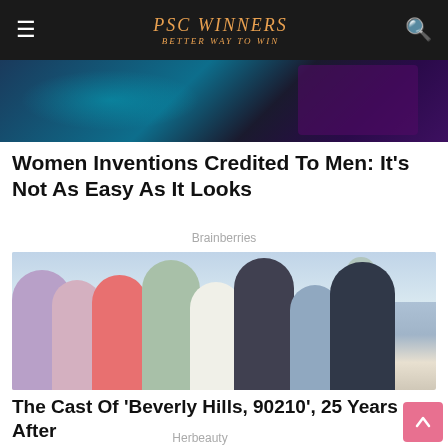PSC WINNERS BETTER WAY TO WIN
[Figure (photo): Partial top image, dark blue/purple background with glowing effects]
Women Inventions Credited To Men: It's Not As Easy As It Looks
Brainberries
[Figure (photo): Group photo of the cast of Beverly Hills, 90210, posing together]
The Cast Of 'Beverly Hills, 90210', 25 Years After
Herbeauty